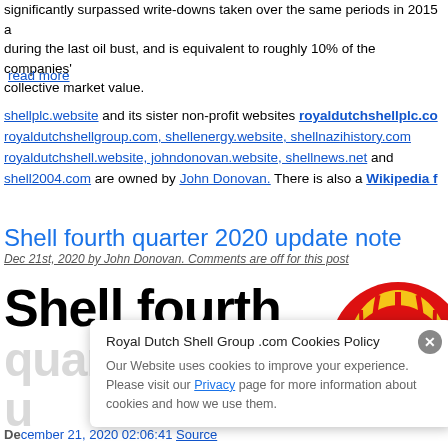significantly surpassed write-downs taken over the same periods in 2015 and during the last oil bust, and is equivalent to roughly 10% of the companies' collective market value.
read more
shellplc.website and its sister non-profit websites royaldutchshellplc.com royaldutchshellgroup.com, shellenergy.website, shellnazihistory.com royaldutchshell.website, johndonovan.website, shellnews.net and shell2004.com are owned by John Donovan. There is also a Wikipedia f…
Shell fourth quarter 2020 update note
Dec 21st, 2020 by John Donovan. Comments are off for this post
Shell fourth quarter 2020 u
December 21, 2020 02:06:41 Source
[Figure (logo): Royal Dutch Shell logo — red and yellow shell emblem]
Royal Dutch Shell Group .com Cookies Policy
Our Website uses cookies to improve your experience. Please visit our Privacy page for more information about cookies and how we use them.